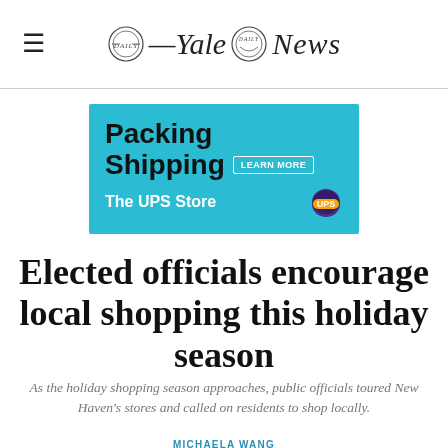Yale Daily News
[Figure (infographic): UPS Store advertisement banner with cyan background. Text reads: Packing Shipping LEARN MORE The UPS Store [UPS logo]]
Elected officials encourage local shopping this holiday season
As the holiday shopping season approaches, public officials toured New Haven's stores and called on residents to shop locally.
MICHAELA WANG